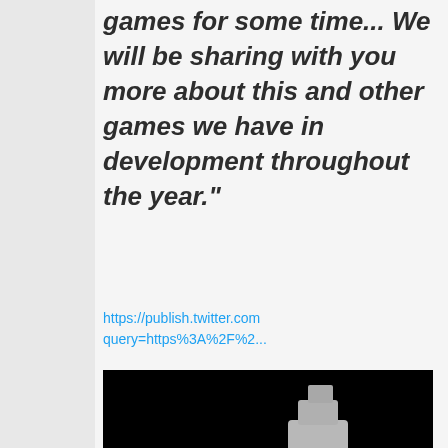games for some time... We will be sharing with you more about this and other games we have in development throughout the year."
https://publish.twitter.com query=https%3A%2F%2...
[Figure (photo): Black and white photograph of a military tank turret with multiple gun barrels, photographed against a black background]